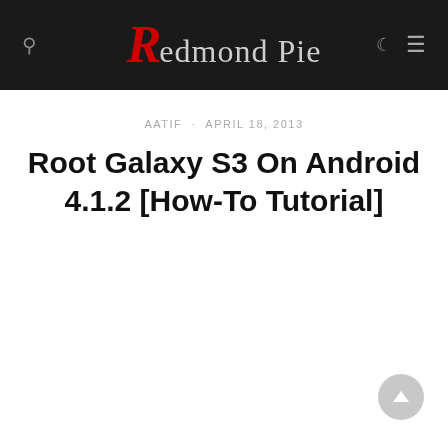Redmond Pie
AATIF · APRIL 18, 2013
Root Galaxy S3 On Android 4.1.2 [How-To Tutorial]